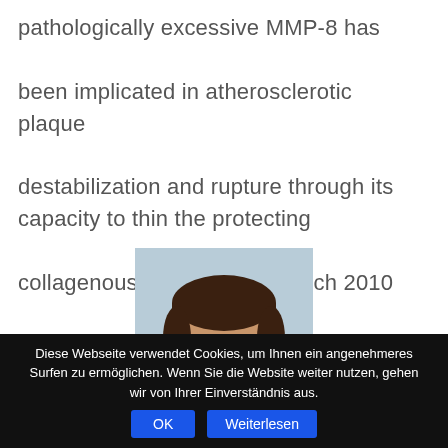pathologically excessive MMP-8 has been implicated in atherosclerotic plaque destabilization and rupture through its capacity to thin the protecting collagenous fibrous cap." March 2010
[Figure (photo): Headshot photo of a middle-aged man with dark hair and a beard, smiling, against a light blue-grey background.]
Diese Webseite verwendet Cookies, um Ihnen ein angenehmeres Surfen zu ermöglichen. Wenn Sie die Website weiter nutzen, gehen wir von Ihrer Einverständnis aus.